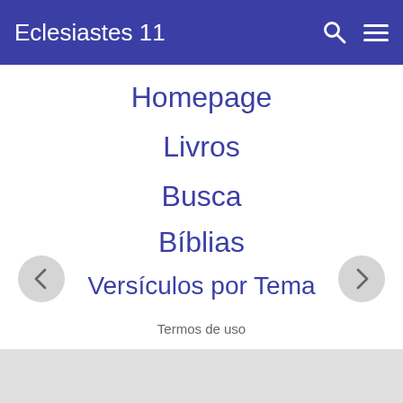Eclesiastes 11
Homepage
Livros
Busca
Bíblias
Versículos por Tema
Termos de uso